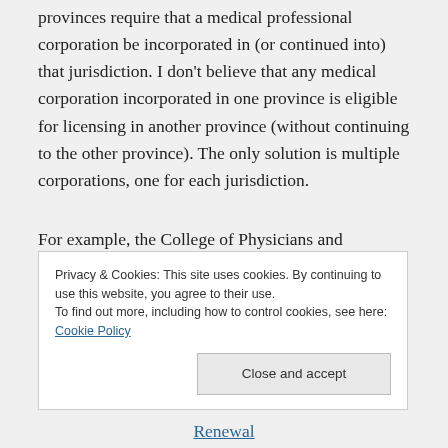provinces require that a medical professional corporation be incorporated in (or continued into) that jurisdiction. I don't believe that any medical corporation incorporated in one province is eligible for licensing in another province (without continuing to the other province). The only solution is multiple corporations, one for each jurisdiction.
For example, the College of Physicians and
Privacy & Cookies: This site uses cookies. By continuing to use this website, you agree to their use. To find out more, including how to control cookies, see here: Cookie Policy
Renewal